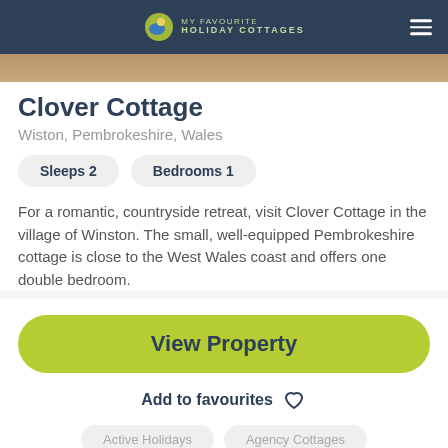MY FAVOURITE HOLIDAY COTTAGES
[Figure (photo): Partial photo strip of cottage exterior]
Clover Cottage
Wiston, Pembrokeshire, Wales
Sleeps  2
Bedrooms  1
For a romantic, countryside retreat, visit Clover Cottage in the village of Winston. The small, well-equipped Pembrokeshire cottage is close to the West Wales coast and offers one double bedroom.
View Property
Add to favourites
Active Holidays
Agency Cottages